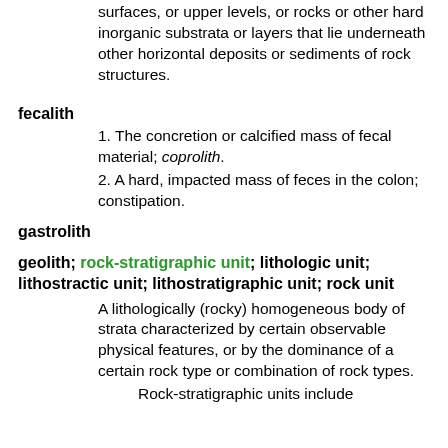surfaces, or upper levels, or rocks or other hard inorganic substrata or layers that lie underneath other horizontal deposits or sediments of rock structures.
fecalith
1. The concretion or calcified mass of fecal material; coprolith.
2. A hard, impacted mass of feces in the colon; constipation.
gastrolith
geolith; rock-stratigraphic unit; lithologic unit; lithostractic unit; lithostratigraphic unit; rock unit
A lithologically (rocky) homogeneous body of strata characterized by certain observable physical features, or by the dominance of a certain rock type or combination of rock types.
Rock-stratigraphic units include